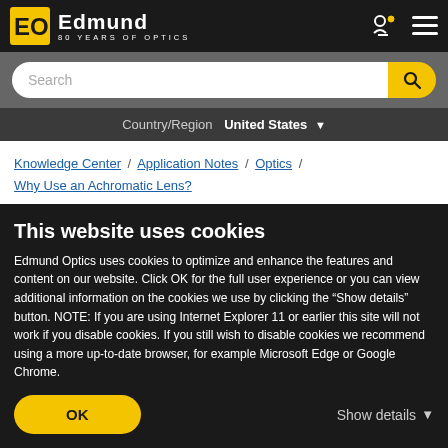Edmund Optics – 80 YEARS OF OPTICS
Search
Country/Region  United States
Knowledge Center / Application Notes / Optics / Why Use an Achromatic Lens?
Why Use an Achromatic
This website uses cookies
Edmund Optics uses cookies to optimize and enhance the features and content on our website. Click OK for the full user experience or you can view additional information on the cookies we use by clicking the "Show details" button. NOTE: If you are using Internet Explorer 11 or earlier this site will not work if you disable cookies. If you still wish to disable cookies we recommend using a more up-to-date browser, for example Microsoft Edge or Google Chrome.
OK
Show details